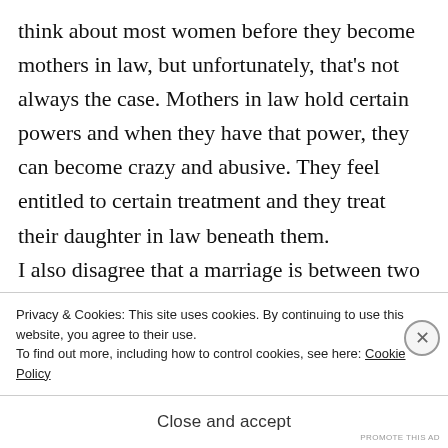think about most women before they become mothers in law, but unfortunately, that's not always the case. Mothers in law hold certain powers and when they have that power, they can become crazy and abusive. They feel entitled to certain treatment and they treat their daughter in law beneath them. I also disagree that a marriage is between two families. I believe it is between two
Privacy & Cookies: This site uses cookies. By continuing to use this website, you agree to their use.
To find out more, including how to control cookies, see here: Cookie Policy
Close and accept